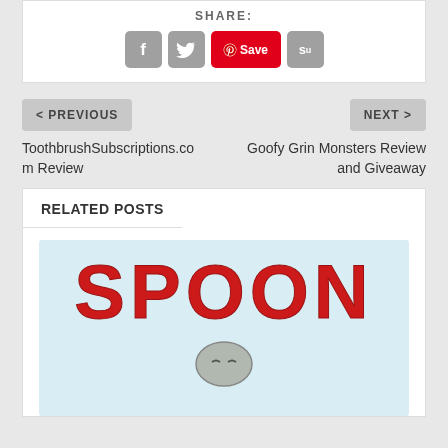SHARE:
[Figure (other): Social share buttons: Facebook, Twitter, Pinterest Save, StumbleUpon]
< PREVIOUS
ToothbrushSubscriptions.com Review
NEXT >
Goofy Grin Monsters Review and Giveaway
RELATED POSTS
[Figure (illustration): Book cover image with large red text reading SPOON and an illustrated character below]